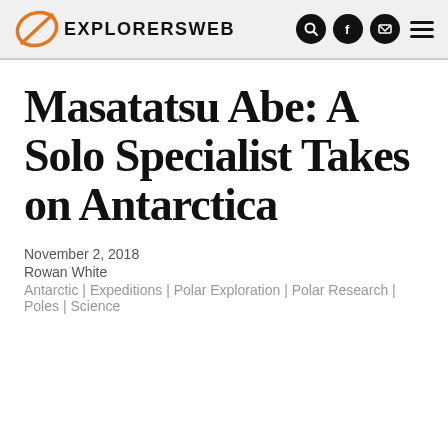EXPLORERSWEB
Masatatsu Abe: A Solo Specialist Takes on Antarctica
November 2, 2018
Rowan White
Antarctic | Expeditions | Polar Exploration | Polar Research | Poles | Science